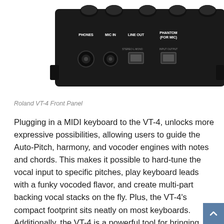[Figure (photo): Photo of the Roland VT-4 front panel showing the back side with PHONES, MIC IN, LINE OUT, and PHANTOM (for MIC) ports and connectors on a black device]
Roland VT-4 Front Panel
Plugging in a MIDI keyboard to the VT-4, unlocks more expressive possibilities, allowing users to guide the Auto-Pitch, harmony, and vocoder engines with notes and chords. This makes it possible to hard-tune the vocal input to specific pitches, play keyboard leads with a funky vocoded flavor, and create multi-part backing vocal stacks on the fly. Plus, the VT-4's compact footprint sits neatly on most keyboards. Additionally, the VT-4 is a powerful tool for bringing humor, drama, and variety to spoken-word applications. Offering simple controls and USB-audio capabilities, it's uniquely suited to altering voices for YouTube broadcasts, Twitch and Facebook streams, podcasts, and more.